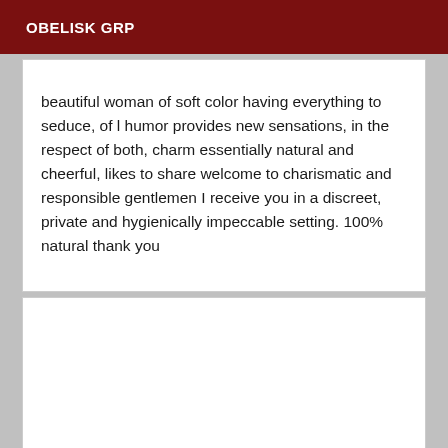OBELISK GRP
beautiful woman of soft color having everything to seduce, of l humor provides new sensations, in the respect of both, charm essentially natural and cheerful, likes to share welcome to charismatic and responsible gentlemen I receive you in a discreet, private and hygienically impeccable setting. 100% natural thank you
[Figure (other): Empty white box below the text content]